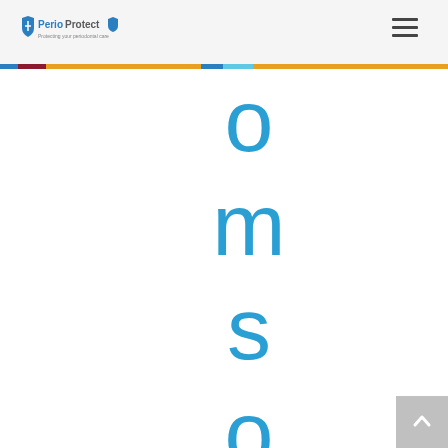PerioProtect logo and navigation header
[Figure (logo): PerioProtect logo with shield icon and tagline]
o m s o f G